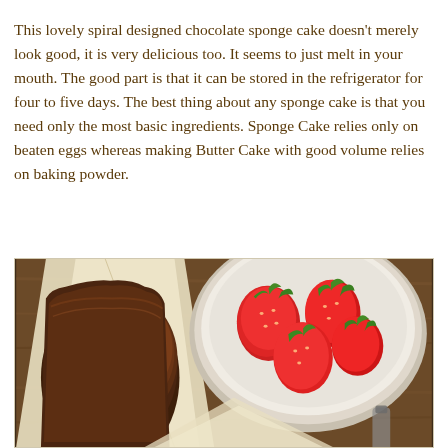This lovely spiral designed chocolate sponge cake doesn't merely look good, it is very delicious too. It seems to just melt in your mouth. The good part is that it can be stored in the refrigerator for four to five days. The best thing about any sponge cake is that you need only the most basic ingredients. Sponge Cake relies only on beaten eggs whereas making Butter Cake with good volume relies on baking powder.
[Figure (photo): Overhead photo of a chocolate sponge cake wrapped in parchment paper on a wooden surface, alongside a white bowl filled with fresh red strawberries with green stems]